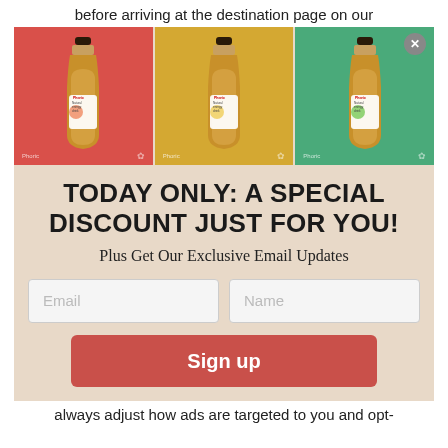before arriving at the destination page on our
[Figure (screenshot): Three product bottles on colored backgrounds (red, yellow, green) with a close (X) button in the top right corner of the last panel. Each bottle shows a label reading 'natural energy drink' with fruit illustrations.]
TODAY ONLY: A SPECIAL DISCOUNT JUST FOR YOU!
Plus Get Our Exclusive Email Updates
[Figure (other): Email and Name input fields side by side, followed by a red 'Sign up' button]
always adjust how ads are targeted to you and opt-